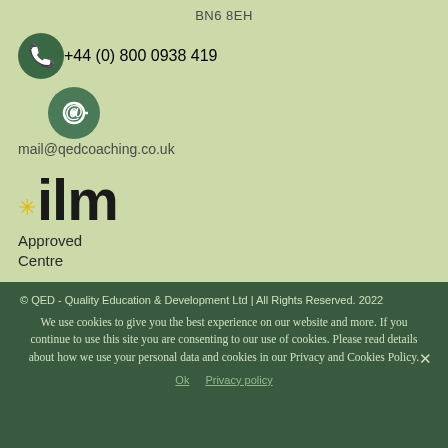BN6 8EH
+44 (0) 800 0938 419
mail@qedcoaching.co.uk
[Figure (logo): ILM Approved Centre logo with yellow asterisk star and bold black ilm letters]
Approved Centre
© QED - Quality Education & Development Ltd | All Rights Reserved. 2022
We use cookies to give you the best experience on our website and more. If you continue to use this site you are consenting to our use of cookies. Please read details about how we use your personal data and cookies in our Privacy and Cookies Policy.
Ok   Privacy policy